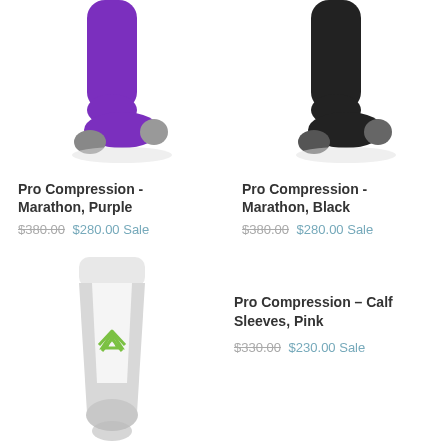[Figure (photo): Purple compression sock standing upright, with gray toe and heel accents]
Pro Compression - Marathon, Purple
$380.00 $280.00 Sale
[Figure (photo): Black compression sock standing upright, with gray toe and heel accents]
Pro Compression - Marathon, Black
$380.00 $280.00 Sale
[Figure (photo): White/gray compression calf sleeve standing upright with green mountain logo]
Pro Compression - Calf Sleeves, Pink
$330.00 $230.00 Sale